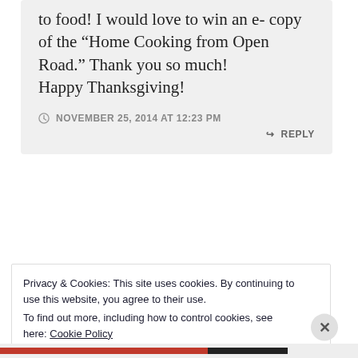to food! I would love to win an e- copy of the “Home Cooking from Open Road.” Thank you so much! Happy Thanksgiving!
NOVEMBER 25, 2014 AT 12:23 PM
REPLY
Privacy & Cookies: This site uses cookies. By continuing to use this website, you agree to their use. To find out more, including how to control cookies, see here: Cookie Policy
Close and accept